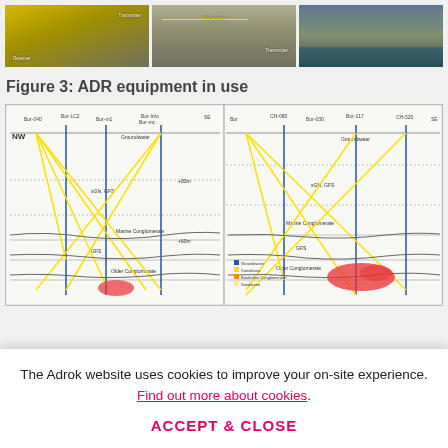[Figure (photo): Three photos showing ADR equipment in use: left image shows yellow equipment with Transmitter and Receiver labels, middle image shows equipment on ground with 10m scanline measurement and Transmitter label, right image shows equipment near water.]
Figure 3: ADR equipment in use
[Figure (engineering-diagram): Two cross-section diagrams side by side showing seismic/geophysical survey lines with NW orientation, borehole locations (Bor-LC2, Bor-m1, etc.), geological layers (Groundwater, Marine Conglomerate, GFS, Older Conglomerate), and yellow fan-shaped ray paths. Right diagram shows a red anomaly shape with legend for Groundwater Conditions, Borderline Conditions, Borderline Conglomerate/Sandstone.]
The Adrok website uses cookies to improve your on-site experience. Find out more about cookies.
ACCEPT & CLOSE